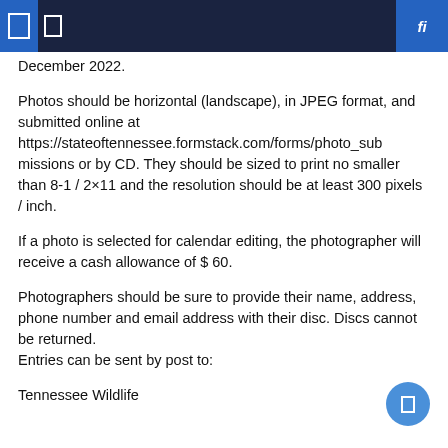December 2022.
Photos should be horizontal (landscape), in JPEG format, and submitted online at https://stateoftennessee.formstack.com/forms/photo_submissions or by CD. They should be sized to print no smaller than 8-1 / 2×11 and the resolution should be at least 300 pixels / inch.
If a photo is selected for calendar editing, the photographer will receive a cash allowance of $ 60.
Photographers should be sure to provide their name, address, phone number and email address with their disc. Discs cannot be returned.
Entries can be sent by post to:
Tennessee Wildlife